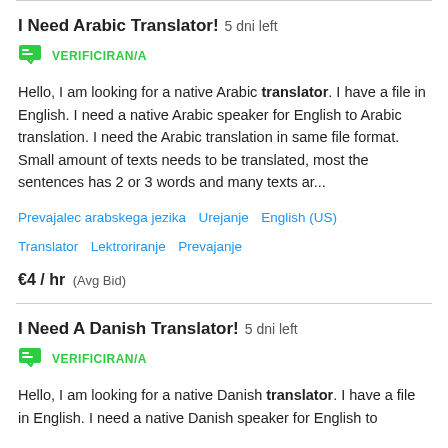I Need Arabic Translator! 5 dni left
[Figure (logo): Green verified badge icon with checkmark]
VERIFICIRAN/A
Hello, I am looking for a native Arabic translator. I have a file in English. I need a native Arabic speaker for English to Arabic translation. I need the Arabic translation in same file format. Small amount of texts needs to be translated, most the sentences has 2 or 3 words and many texts ar...
Prevajalec arabskega jezika   Urejanje   English (US)   Translator   Lektroriranje   Prevajanje
€4 / hr  (Avg Bid)
I Need A Danish Translator! 5 dni left
[Figure (logo): Green verified badge icon with checkmark]
VERIFICIRAN/A
Hello, I am looking for a native Danish translator. I have a file in English. I need a native Danish speaker for English to